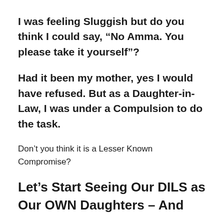I was feeling Sluggish but do you think I could say, “No Amma. You please take it yourself”?
Had it been my mother, yes I would have refused. But as a Daughter-in-Law, I was under a Compulsion to do the task.
Don’t you think it is a Lesser Known Compromise?
Let’s Start Seeing Our DILS as Our OWN Daughters – And